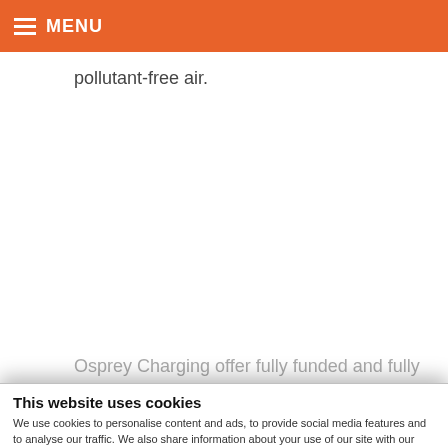MENU
pollutant-free air.
Osprey Charging offer fully funded and fully
This website uses cookies
We use cookies to personalise content and ads, to provide social media features and to analyse our traffic. We also share information about your use of our site with our social media, advertising and analytics partners who may combine it with other information that you've provided to them or that they've collected from your use of their services.
Allow all cookies
Allow selection
Use necessary cookies only
Necessary   Preferences   Statistics   Marketing   Show details